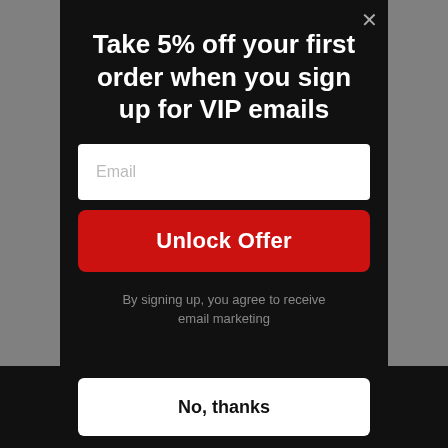Take 5% off your first order when you sign up for VIP emails
Email
Unlock Offer
By signing up, you agree to receive email marketing
No, thanks